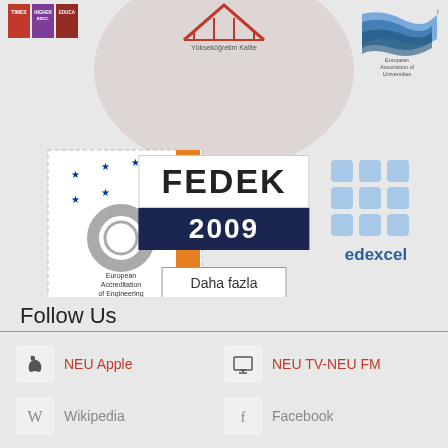[Figure (logo): Times Higher Education colored bar logos (red, purple, dark red, blue bars)]
[Figure (logo): Yükseköğretim Kalite Kurulu logo at top center]
[Figure (logo): European Association of Universities (EUA) logo top right]
[Figure (logo): EUR-ACE European Accreditation of Engineering Programmes logo]
[Figure (logo): FEDEK 2009 logo - white box with FEDEK text and dark blue box with 2009]
[Figure (logo): Edexcel logo with blue grid dots and text]
[Figure (logo): YÖDAK logo with Y symbol in blue square]
Daha fazla
Follow Us
NEU Apple
NEU TV-NEU FM
Wikipedia
Facebook